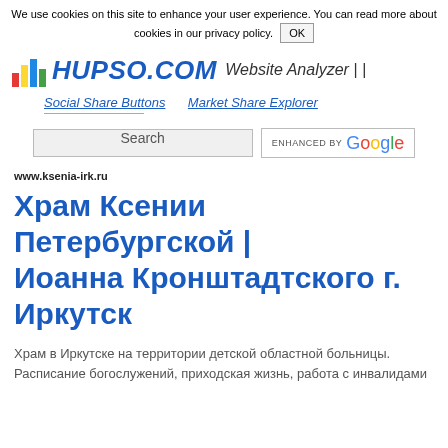We use cookies on this site to enhance your user experience. You can read more about cookies in our privacy policy. OK
[Figure (logo): Hupso.com logo with colorful bar chart icon and italic bold blue text HUPSO.COM, followed by Website Analyzer text]
Social Share Buttons   Market Share Explorer
Search  ENHANCED BY Google
www.ksenia-irk.ru
Храм Ксении Петербургской | Иоанна Кронштадтского г. Иркутск
Храм в Иркутске на территории детской областной больницы. Расписание богослужений, приходская жизнь, работа с инвалидами